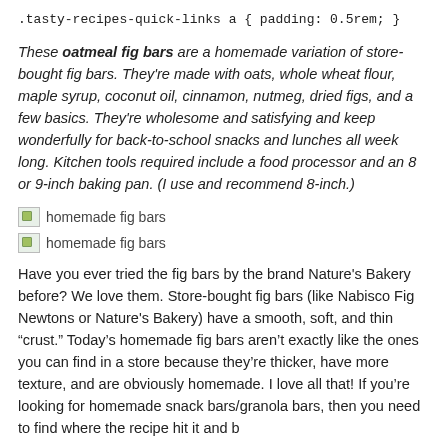.tasty-recipes-quick-links a { padding: 0.5rem; }
These oatmeal fig bars are a homemade variation of store-bought fig bars. They're made with oats, whole wheat flour, maple syrup, coconut oil, cinnamon, nutmeg, dried figs, and a few basics. They're wholesome and satisfying and keep wonderfully for back-to-school snacks and lunches all week long. Kitchen tools required include a food processor and an 8 or 9-inch baking pan. (I use and recommend 8-inch.)
[Figure (photo): homemade fig bars - broken image placeholder]
[Figure (photo): homemade fig bars - broken image placeholder]
Have you ever tried the fig bars by the brand Nature’s Bakery before? We love them. Store-bought fig bars (like Nabisco Fig Newtons or Nature’s Bakery) have a smooth, soft, and thin “crust.” Today’s homemade fig bars aren’t exactly like the ones you can find in a store because they’re thicker, have more texture, and are obviously homemade. I love all that! If you’re looking for homemade snack bars/granola bars, then you need to find where the recipe hit it and b